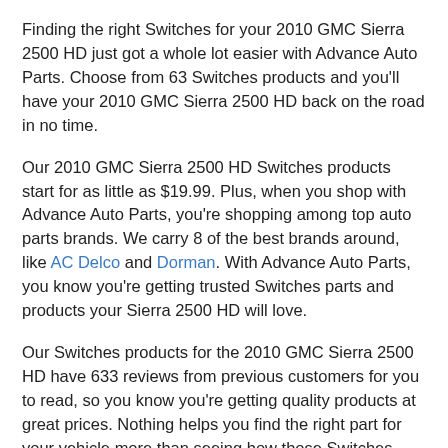Finding the right Switches for your 2010 GMC Sierra 2500 HD just got a whole lot easier with Advance Auto Parts. Choose from 63 Switches products and you'll have your 2010 GMC Sierra 2500 HD back on the road in no time.
Our 2010 GMC Sierra 2500 HD Switches products start for as little as $19.99. Plus, when you shop with Advance Auto Parts, you're shopping among top auto parts brands. We carry 8 of the best brands around, like AC Delco and Dorman. With Advance Auto Parts, you know you're getting trusted Switches parts and products your Sierra 2500 HD will love.
Our Switches products for the 2010 GMC Sierra 2500 HD have 633 reviews from previous customers for you to read, so you know you're getting quality products at great prices. Nothing helps you find the right part for your vehicle more than seeing how those Switches performed for others.
So browse our top Switches inventory for your 2010 GMC Sierra 2500 HD online and get products shipped right to your garage. Or head over to your local Advance Auto Parts shop to see us in person today!